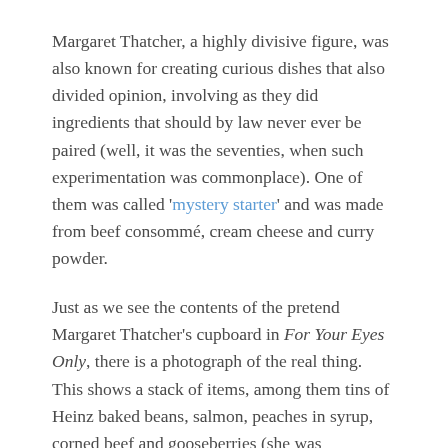Margaret Thatcher, a highly divisive figure, was also known for creating curious dishes that also divided opinion, involving as they did ingredients that should by law never ever be paired (well, it was the seventies, when such experimentation was commonplace). One of them was called 'mystery starter' and was made from beef consommé, cream cheese and curry powder.
Just as we see the contents of the pretend Margaret Thatcher's cupboard in For Your Eyes Only, there is a photograph of the real thing. This shows a stack of items, among them tins of Heinz baked beans, salmon, peaches in syrup, corned beef and gooseberries (she was apparently quite fond of gooseberry soufflé). The cynic in me would suggest that the photograph was very stage-managed, with products carefully chosen and arranged to promote British manufacturers and create a down-to-earth image, but I have to say such items were pretty standard in kitchens in